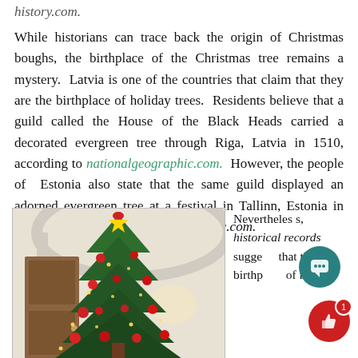history.com.
While historians can trace back the origin of Christmas boughs, the birthplace of the Christmas tree remains a mystery.  Latvia is one of the countries that claim that they are the birthplace of holiday trees.  Residents believe that a guild called the House of the Black Heads carried a decorated evergreen tree through Riga, Latvia in 1510, according to nationalgeographic.com.  However, the people of  Estonia also state that the same guild displayed an adorned evergreen tree at a festival in Tallinn, Estonia in 1441, according to nationalgeographic.com.
[Figure (photo): Photo of a decorated Christmas tree with red ornaments and lights inside a home, positioned in an arched doorway. A brown wooden door is visible to the left.]
Nevertheless, historical records suggest that the birthplace of mo... Christmas...